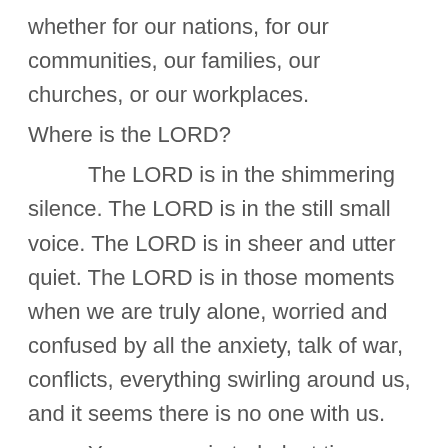whether for our nations, for our communities, our families, our churches, or our workplaces.
Where is the LORD?
The LORD is in the shimmering silence. The LORD is in the still small voice. The LORD is in sheer and utter quiet. The LORD is in those moments when we are truly alone, worried and confused by all the anxiety, talk of war, conflicts, everything swirling around us, and it seems there is no one with us.
Yes, we are in turbulent times these days. Conflicts are brewing. Extreme racists and